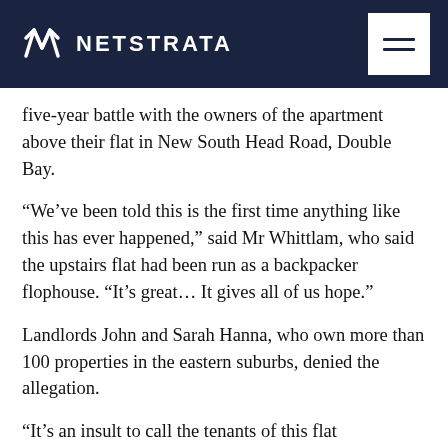NETSTRATA
five-year battle with the owners of the apartment above their flat in New South Head Road, Double Bay.
“We’ve been told this is the first time anything like this has ever happened,” said Mr Whittlam, who said the upstairs flat had been run as a backpacker flophouse. “It’s great… It gives all of us hope.”
Landlords John and Sarah Hanna, who own more than 100 properties in the eastern suburbs, denied the allegation.
“It’s an insult to call the tenants of this flat backpackers,” Mrs Hanna, 76, said. “They were